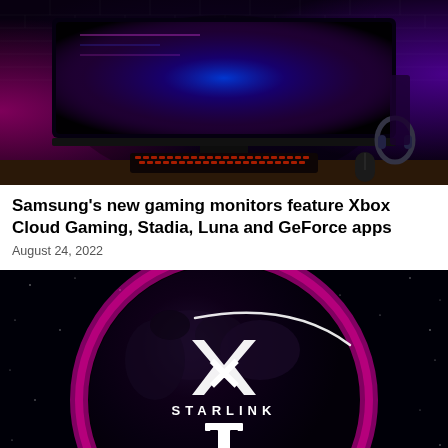[Figure (photo): Gaming setup with a curved ultrawide monitor displaying blue and purple lighting effects on a desk, with a mechanical keyboard with red lighting, headset, and mouse. Background shows brick wall with purple/pink ambient lighting.]
Samsung’s new gaming monitors feature Xbox Cloud Gaming, Stadia, Luna and GeForce apps
August 24, 2022
[Figure (photo): Dark image of Earth from space with a deep magenta/pink glowing outer ring. The Starlink logo (stylized X) and STARLINK text appear prominently in white, along with a satellite arc. The T-Mobile logo appears at the bottom.]